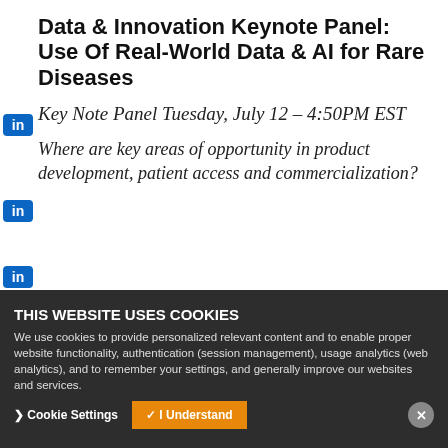Data & Innovation Keynote Panel: Use Of Real-World Data & AI for Rare Diseases
Key Note Panel Tuesday, July 12 – 4:50PM EST
Where are key areas of opportunity in product development, patient access and commercialization?
EVERSANA Precision...
Join EVERSANA and other leaders in the industry at the upcoming WORC as we advance the conversati...
THIS WEBSITE USES COOKIES
We use cookies to provide personalized relevant content and to enable proper website functionality, authentication (session management), usage analytics (web analytics), and to remember your settings, and generally improve our websites and services.